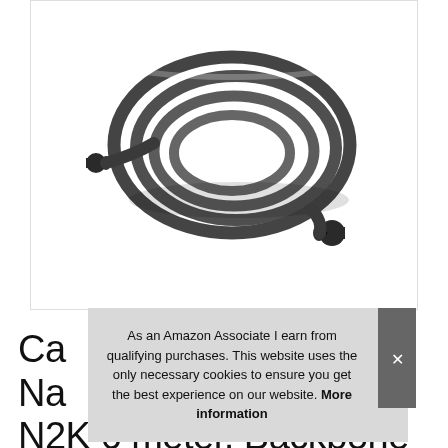[Figure (photo): Coiled black marine/NMEA network cable with male connector on the left end and female connector on the lower right, coiled in a loop on white background.]
As an Amazon Associate I earn from qualifying purchases. This website uses the only necessary cookies to ensure you get the best experience on our website. More information
Ca Na N2K 6 meter, Backbone or Drop